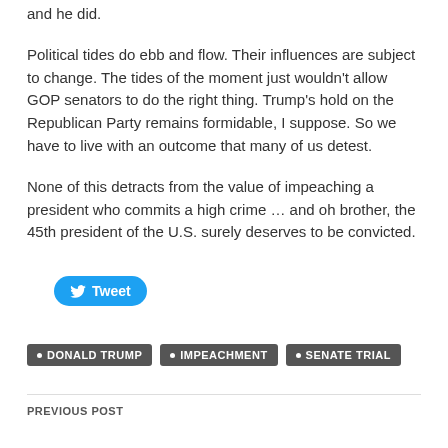and he did.
Political tides do ebb and flow. Their influences are subject to change. The tides of the moment just wouldn't allow GOP senators to do the right thing. Trump's hold on the Republican Party remains formidable, I suppose. So we have to live with an outcome that many of us detest.
None of this detracts from the value of impeaching a president who commits a high crime … and oh brother, the 45th president of the U.S. surely deserves to be convicted.
[Figure (other): Tweet button with Twitter bird icon]
DONALD TRUMP
IMPEACHMENT
SENATE TRIAL
PREVIOUS POST